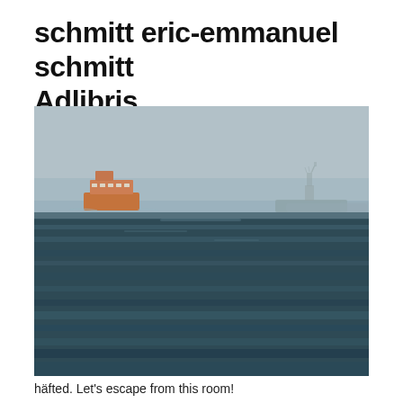schmitt eric-emmanuel schmitt Adlibris
[Figure (photo): A photograph of a choppy body of water (New York Harbor) with an orange Staten Island Ferry on the left and the Statue of Liberty visible in the misty background on the right.]
häfted. Let's escape from this room!